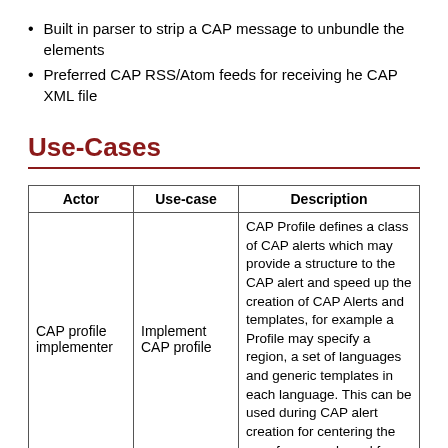Built in parser to strip a CAP message to unbundle the elements
Preferred CAP RSS/Atom feeds for receiving he CAP XML file
Use-Cases
| Actor | Use-case | Description |
| --- | --- | --- |
| CAP profile implementer | Implement CAP profile | CAP Profile defines a class of CAP alerts which may provide a structure to the CAP alert and speed up the creation of CAP Alerts and templates, for example a Profile may specify a region, a set of languages and generic templates in each language. This can be used during CAP alert creation for centering the map for example and for |